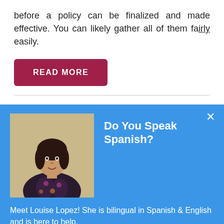before a policy can be finalized and made effective. You can likely gather all of them fairly easily.
READ MORE
[Figure (photo): Photo of Louise Lopez, a woman in a floral top, used in a bilingual Spanish & English agent widget]
Do You Speak Spanish?
Meet Louise Lopez! She is bilingual in Spanish & English and is here to help.
Talk to Louise!